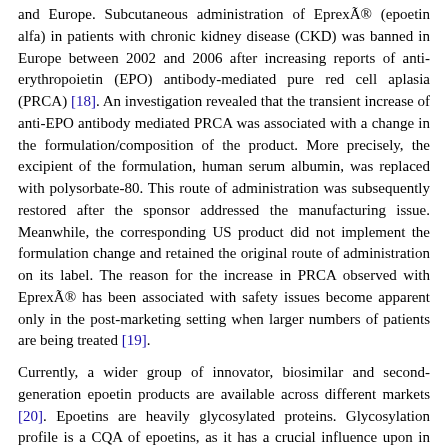and Europe. Subcutaneous administration of Eprex® (epoetin alfa) in patients with chronic kidney disease (CKD) was banned in Europe between 2002 and 2006 after increasing reports of anti-erythropoietin (EPO) antibody-mediated pure red cell aplasia (PRCA) [18]. An investigation revealed that the transient increase of anti-EPO antibody mediated PRCA was associated with a change in the formulation/composition of the product. More precisely, the excipient of the formulation, human serum albumin, was replaced with polysorbate-80. This route of administration was subsequently restored after the sponsor addressed the manufacturing issue. Meanwhile, the corresponding US product did not implement the formulation change and retained the original route of administration on its label. The reason for the increase in PRCA observed with Eprex® has been associated with safety issues become apparent only in the post-marketing setting when larger numbers of patients are being treated [19].
Currently, a wider group of innovator, biosimilar and second-generation epoetin products are available across different markets [20]. Epoetins are heavily glycosylated proteins. Glycosylation profile is a CQA of epoetins, as it has a crucial influence upon in vivo biological and clinical activity [21]. Marketing authorization of biosimilar epoetin alfa products, e.g. Binocrit® and Silapo®, by EMA was based upon detailed biosimilarity exercises with the innovator product, Eprex®. In a recent study, the glycosylation